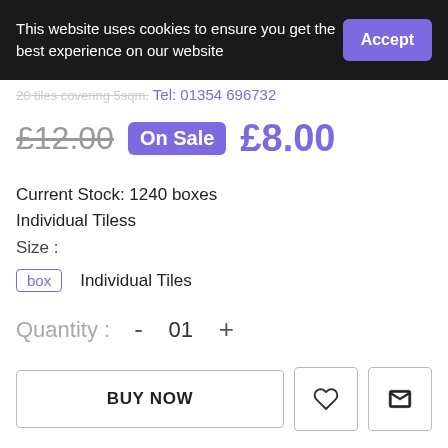This website uses cookies to ensure you get the best experience on our website
Accept
20 tiles covering 5sqm.
Tel: 01354 696732
£12.00  On Sale  £8.00
Current Stock: 1240 boxes
Individual Tiless
Size :
box   Individual Tiles
Quantity :  -  01  +
BUY NOW